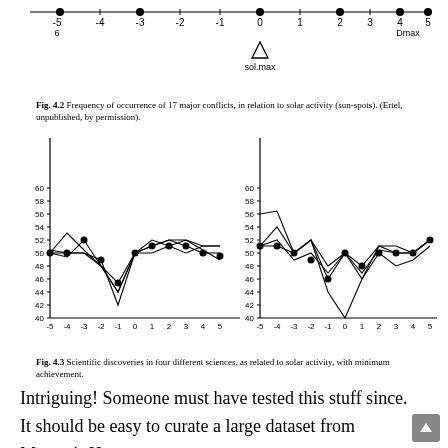[Figure (continuous-plot): Top strip chart showing dots on a number line from -5 to 5 (labeled 6 on left, Dmax on right), with a triangle marker at 0 labeled sol.max]
Fig. 4.2  Frequency of occurrence of 17 major conflicts, in relation to solar activity (sun-spots). (Ertel, unpublished, by permission).
[Figure (line-chart): Two side-by-side line charts showing scientific discoveries in four sciences related to solar activity with minimum achievement. Left chart x-axis -5 to 5, y-axis 40-60. Right chart x-axis -5 to 5, y-axis 40-60. Multiple lines with dots plotted on each.]
Fig. 4.3  Scientific discoveries in four different sciences, as related to solar activity, with minimum achievement.
Intriguing! Someone must have tested this stuff since. It should be easy to curate a large dataset from Murray's Human